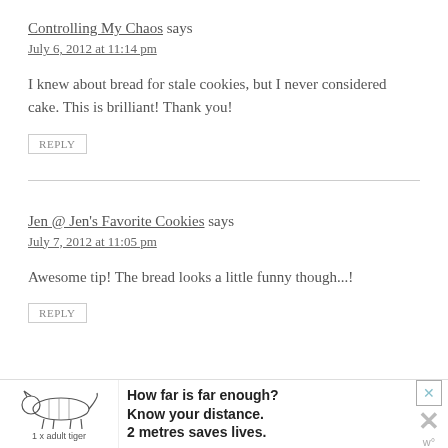Controlling My Chaos says
July 6, 2012 at 11:14 pm
I knew about bread for stale cookies, but I never considered cake. This is brilliant! Thank you!
REPLY
Jen @ Jen's Favorite Cookies says
July 7, 2012 at 11:05 pm
Awesome tip! The bread looks a little funny though...!
REPLY
[Figure (infographic): Advertisement banner: tiger silhouette with text '1 x adult tiger', 'How far is far enough? Know your distance. 2 metres saves lives.' with a close X button and W logo.]